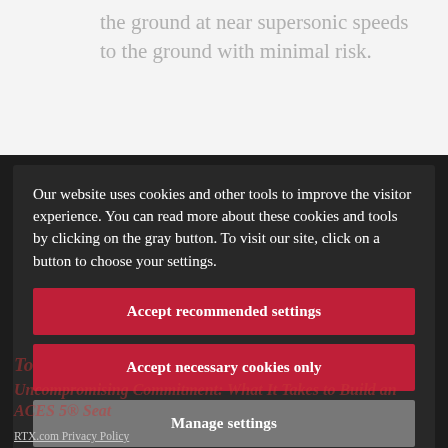the ground at near supersonic speeds to the ground with minimal risk.
Our website uses cookies and other tools to improve the visitor experience. You can read more about these cookies and tools by clicking on the gray button. To visit our site, click on a button to choose your settings.
Accept recommended settings
Accept necessary cookies only
Manage settings
To
Uncompromising Commitment: What It Takes to Build an ACES 5® Seat
RTX.com Privacy Policy